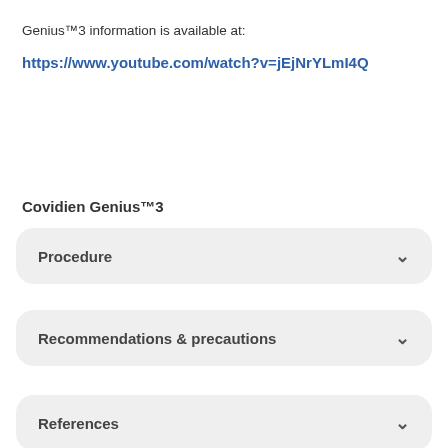Genius™3 information is available at:
https://www.youtube.com/watch?v=jEjNrYLmI4Q
Covidien Genius™3
Procedure
Recommendations & precautions
References